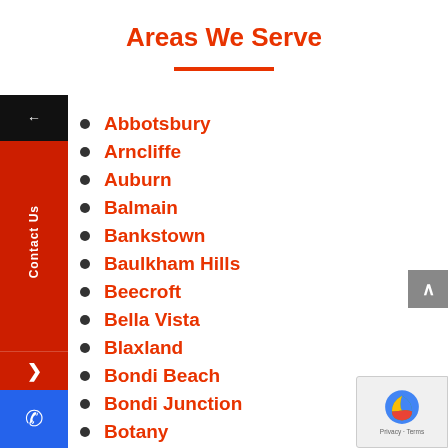Areas We Serve
Abbotsbury
Arncliffe
Auburn
Balmain
Bankstown
Baulkham Hills
Beecroft
Bella Vista
Blaxland
Bondi Beach
Bondi Junction
Botany